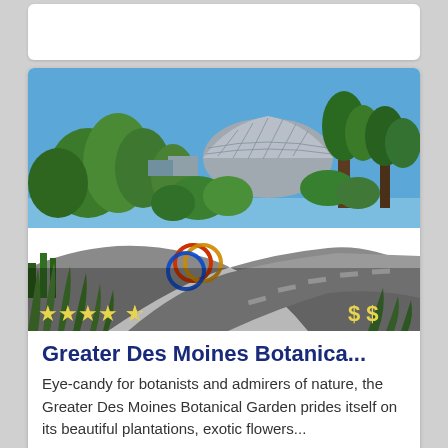[Figure (photo): Outdoor photo of Greater Des Moines Botanical Garden showing a curved road, lush green trees and plants, a large geodesic dome greenhouse structure in the background under a clear blue sky. Star rating (4.5 stars) and price indicator ($$ ) overlaid on lower portion of image.]
Greater Des Moines Botanica...
Eye-candy for botanists and admirers of nature, the Greater Des Moines Botanical Garden prides itself on its beautiful plantations, exotic flowers...